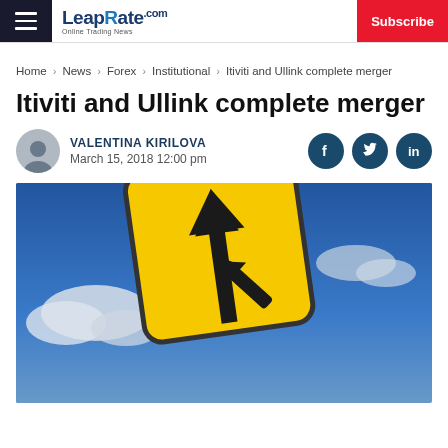LeapRate.com | Subscribe
Home > News > Forex > Institutional > Itiviti and Ullink complete merger
Itiviti and Ullink complete merger
VALENTINA KIRILOVA
March 15, 2018 12:00 pm
[Figure (photo): Yellow diamond-shaped road merger sign against a blue cloudy sky, showing two arrows merging into one]